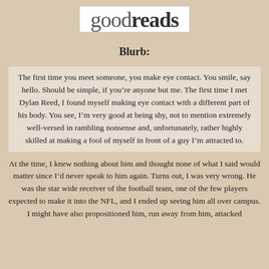[Figure (logo): Goodreads logo in white box with 'good' in grey and 'reads' in bold dark text]
Blurb:
The first time you meet someone, you make eye contact. You smile, say hello. Should be simple, if you’re anyone but me. The first time I met Dylan Reed, I found myself making eye contact with a different part of his body. You see, I’m very good at being shy, not to mention extremely well-versed in rambling nonsense and, unfortunately, rather highly skilled at making a fool of myself in front of a guy I’m attracted to.
At the time, I knew nothing about him and thought none of what I said would matter since I’d never speak to him again. Turns out, I was very wrong. He was the star wide receiver of the football team, one of the few players expected to make it into the NFL, and I ended up seeing him all over campus.
I might have also propositioned him, run away from him, attacked